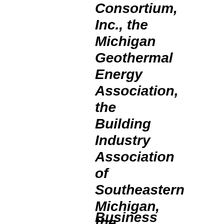Consortium, Inc., the Michigan Geothermal Energy Association, the Building Industry Association of Southeastern Michigan, the Apartment Association of Michigan, and the Better Business Bureau, to name a few.
Business